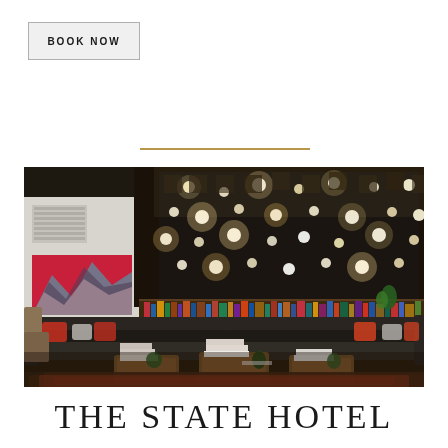BOOK NOW
[Figure (photo): Hotel lobby lounge with dark leather curved sectional sofa, wooden coffee tables with books, colorful red/orange patterned rug, abstract mountain artwork on left wall, and a dramatic decorative wall installation with scattered circular lights on the right wall. Dark ceiling with warm ambient lighting. Bookshelves below the light installation.]
THE STATE HOTEL